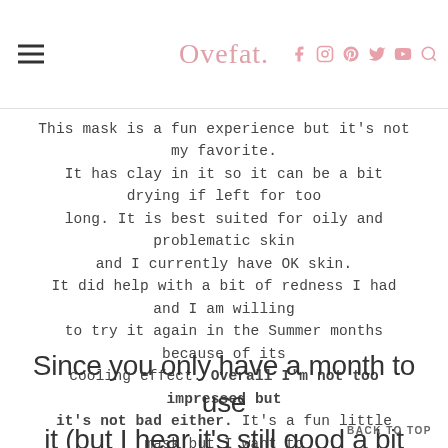Ovefat (blog site name with social icons)
This mask is a fun experience but it's not my favorite. It has clay in it so it can be a bit drying if left for too long. It is best suited for oily and problematic skin and I currently have OK skin. It did help with a bit of redness I had and I am willing to try it again in the Summer months because of its cooling effect. Overall I'm not too impressed but it's not bad either. It's a fun little mask but I want to try them all!
Since you only have a month to use it (but I hear it's still good a bit longer than that) I'm looking for ways to use it up. Any tip
BACK TO TOP